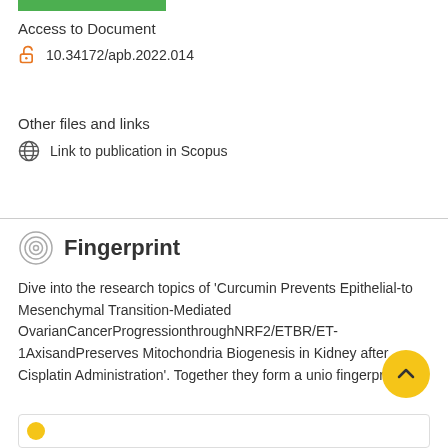[Figure (other): Green horizontal bar at top]
Access to Document
10.34172/apb.2022.014
Other files and links
Link to publication in Scopus
Fingerprint
Dive into the research topics of 'Curcumin Prevents Epithelial-to Mesenchymal Transition-Mediated OvarianCancerProgressionthroughNRF2/ETBR/ET-1AxisandPreserves Mitochondria Biogenesis in Kidney after Cisplatin Administration'. Together they form a unique fingerprint.